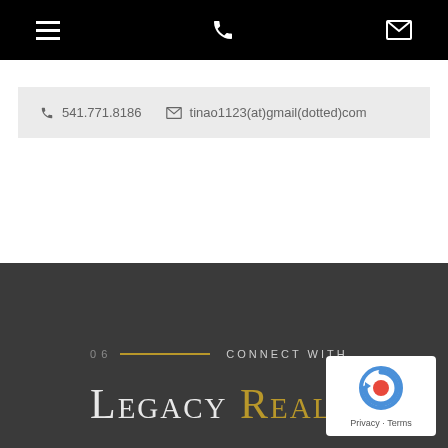Navigation bar with menu, phone, and email icons
541.771.8186   tinao1123(at)gmail(dotted)com
06 — CONNECT WITH
LEGACY REALTY